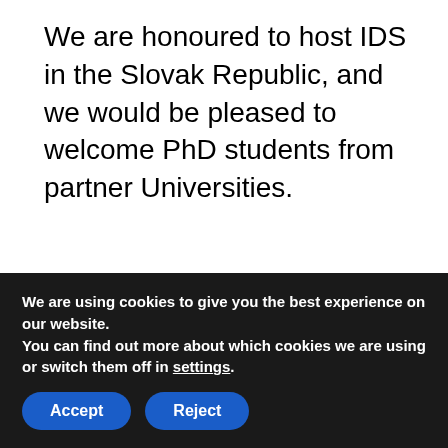We are honoured to host IDS in the Slovak Republic, and we would be pleased to welcome PhD students from partner Universities.
Important Dates
1st step
We are using cookies to give you the best experience on our website.
You can find out more about which cookies we are using or switch them off in settings.